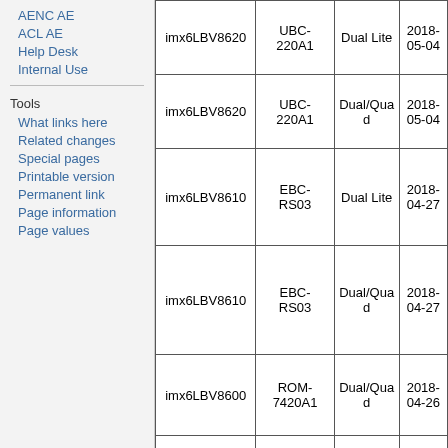AENC AE
ACL AE
Help Desk
Internal Use
Tools
What links here
Related changes
Special pages
Printable version
Permanent link
Page information
Page values
|  | UBC-220A1 | Dual Lite | 2018-05-04 |
| --- | --- | --- | --- |
| imx6LBV8620 | UBC-220A1 | Dual Lite | 2018-05-04 |
| imx6LBV8620 | UBC-220A1 | Dual/Quad | 2018-05-04 |
| imx6LBV8610 | EBC-RS03 | Dual Lite | 2018-04-27 |
| imx6LBV8610 | EBC-RS03 | Dual/Quad | 2018-04-27 |
| imx6LBV8600 | ROM-7420A1 | Dual/Quad | 2018-04-26 |